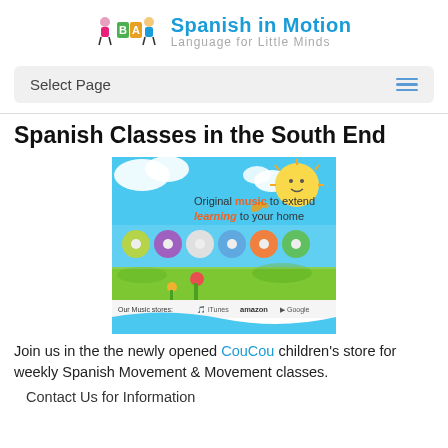[Figure (logo): Spanish in Motion logo with cartoon characters A, B, C and text 'Spanish in Motion – Language for Little Minds']
Select Page
Spanish Classes in the South End
[Figure (illustration): Promotional banner for Spanish in Motion music CDs showing cartoon sun, clouds, music CDs, and text 'Original music to extend learning to your home. Our Music stores: iTunes, Amazon, Google Play']
Join us in the the newly opened CouCou children's store for weekly Spanish Movement & Movement classes.
Contact Us for Information